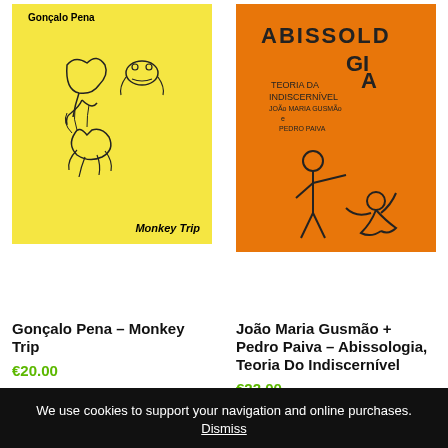[Figure (photo): Yellow book cover: Gonçalo Pena – Monkey Trip, with line drawing illustrations of figures]
[Figure (photo): Orange book cover: Abissologia Teoria Do Indiscernível by João Maria Gusmão + Pedro Paiva, with dark figure illustrations]
Gonçalo Pena – Monkey Trip
€20.00
Read more
João Maria Gusmão + Pedro Paiva – Abissologia, Teoria Do Indiscernível
€22.00
We use cookies to support your navigation and online purchases.
Dismiss